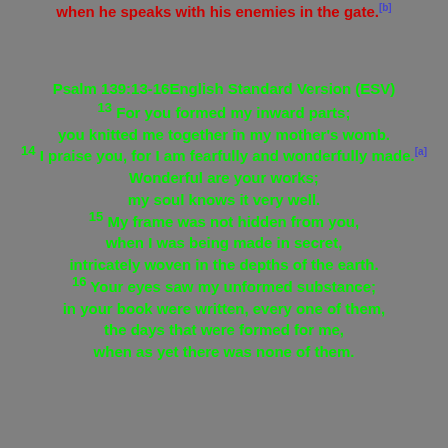when he speaks with his enemies in the gate.[b]
Psalm 139:13-16English Standard Version (ESV)
13 For you formed my inward parts;
you knitted me together in my mother's womb.
14 I praise you, for I am fearfully and wonderfully made.[a]
Wonderful are your works;
my soul knows it very well.
15 My frame was not hidden from you,
when I was being made in secret,
intricately woven in the depths of the earth.
16 Your eyes saw my unformed substance;
in your book were written, every one of them,
the days that were formed for me,
when as yet there was none of them.